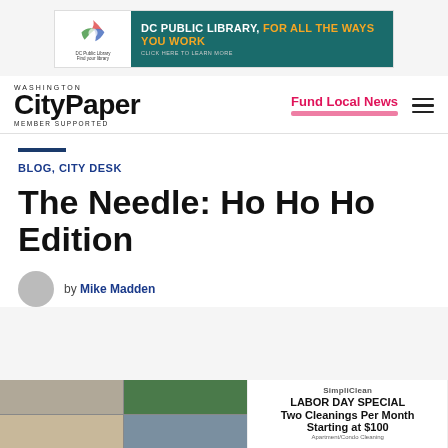[Figure (screenshot): DC Public Library advertisement banner with teal background. Logo on left, text: DC PUBLIC LIBRARY, FOR ALL THE WAYS YOU WORK. CLICK HERE TO LEARN MORE.]
Washington City Paper — MEMBER SUPPORTED | Fund Local News
BLOG, CITY DESK
The Needle: Ho Ho Ho Edition
by MIKE MADDEN
[Figure (screenshot): SimpliClean apartment/condo cleaning advertisement. LABOR DAY SPECIAL Two Cleanings Per Month Starting at $100. Get Started Now button.]